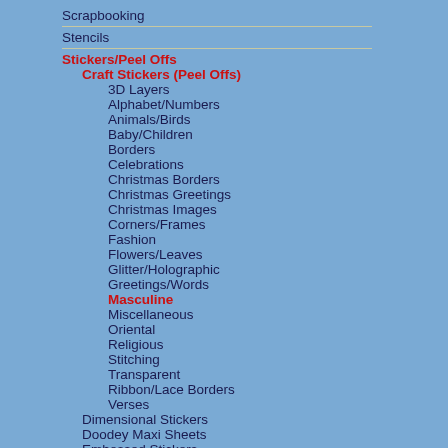Scrapbooking
Stencils
Stickers/Peel Offs
Craft Stickers (Peel Offs)
3D Layers
Alphabet/Numbers
Animals/Birds
Baby/Children
Borders
Celebrations
Christmas Borders
Christmas Greetings
Christmas Images
Corners/Frames
Fashion
Flowers/Leaves
Glitter/Holographic
Greetings/Words
Masculine
Miscellaneous
Oriental
Religious
Stitching
Transparent
Ribbon/Lace Borders
Verses
Dimensional Stickers
Doodey Maxi Sheets
Embossed Stickers
Ribbon Stickers
Tea Bag Folding
Threads
Tools/Accessories